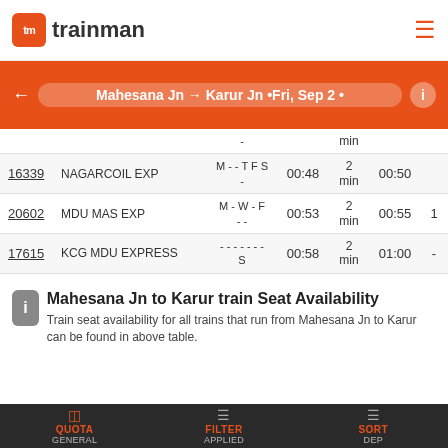tm trainman
Mahesana Jn → Karur Jn •Fri, Sep 2 •
| Train No | Train Name | Days | Arr | Dur | Dep | Avail |
| --- | --- | --- | --- | --- | --- | --- |
| - |  |  |  | min |  |  |
| 16339 | NAGARCOIL EXP | M - - T F S
- | 00:48 | 2
min | 00:50 |  |
| 20602 | MDU MAS EXP | M - W - F
- - | 00:53 | 2
min | 00:55 | 1 |
| 17615 | KCG MDU EXPRESS | - - - - - - -
S | 00:58 | 2
min | 01:00 | - |
Mahesana Jn to Karur train Seat Availability
Train seat availability for all trains that run from Mahesana Jn to Karur can be found in above table.
QUOTA GENERAL   FILTER APPLIED   SORT DEP